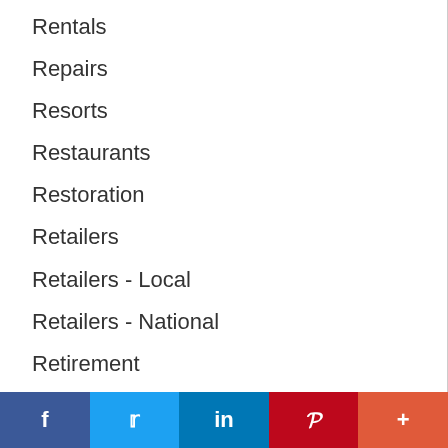Rentals
Repairs
Resorts
Restaurants
Restoration
Retailers
Retailers - Local
Retailers - National
Retirement
Retirement Communities
Roadside Assistance
Roadside Services
Roof Snow Removal
Roofing